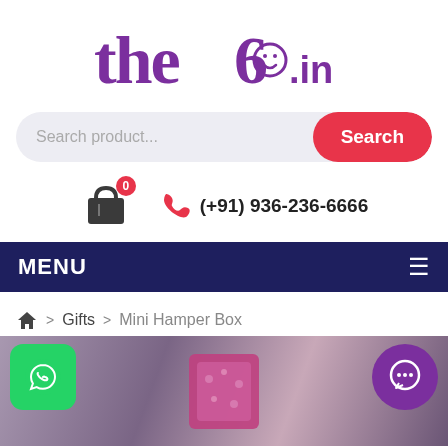[Figure (logo): the6.in logo with purple text and smiley face]
[Figure (screenshot): Search bar with 'Search product...' placeholder and red Search button]
[Figure (infographic): Shopping cart icon with badge 0 and phone number (+91) 936-236-6666]
[Figure (screenshot): Dark navy MENU bar with hamburger icon]
Gifts > Mini Hamper Box
[Figure (photo): Product image of Mini Hamper Box with WhatsApp button on left and chat button on right]